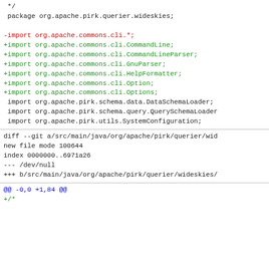*/
 package org.apache.pirk.querier.wideskies;
-import org.apache.commons.cli.*;
+import org.apache.commons.cli.CommandLine;
+import org.apache.commons.cli.CommandLineParser;
+import org.apache.commons.cli.GnuParser;
+import org.apache.commons.cli.HelpFormatter;
+import org.apache.commons.cli.Option;
+import org.apache.commons.cli.Options;
 import org.apache.pirk.schema.data.DataSchemaLoader;
 import org.apache.pirk.schema.query.QuerySchemaLoader
 import org.apache.pirk.utils.SystemConfiguration;
diff --git a/src/main/java/org/apache/pirk/querier/wid
new file mode 100644
index 0000000..6971a26
--- /dev/null
+++ b/src/main/java/org/apache/pirk/querier/wideskies/
@@ -0,0 +1,84 @@
+/*